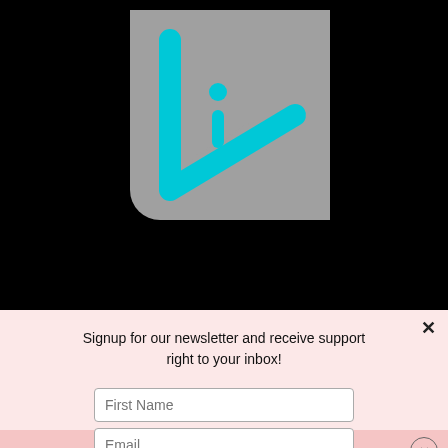[Figure (logo): Gray square logo with cyan/blue triangle play button and letter 'i' inside, on black background]
themselves.
Do you make excuses for your teen?
Do you jump in to fix a problem for your teen
Signup for our newsletter and receive support right to your inbox!
First Name
Email
SIGN ME UP